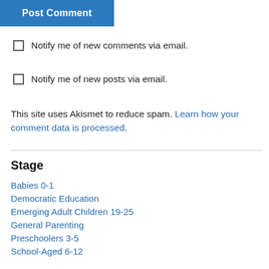Post Comment
Notify me of new comments via email.
Notify me of new posts via email.
This site uses Akismet to reduce spam. Learn how your comment data is processed.
Stage
Babies 0-1
Democratic Education
Emerging Adult Children 19-25
General Parenting
Preschoolers 3-5
School-Aged 6-12
Teenagers 13-19
Toddlers 1-2